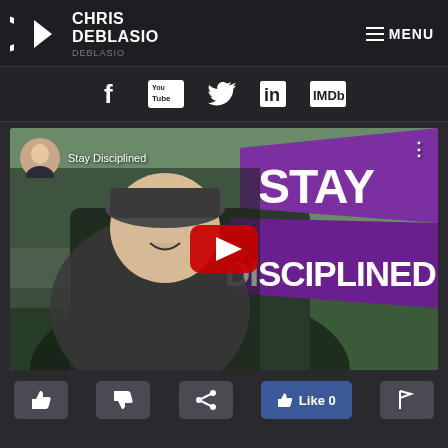Chris DeBlasio — MENU
[Figure (screenshot): Social media icon bar with Facebook, YouTube, Twitter, LinkedIn, IMDb icons]
[Figure (screenshot): YouTube video thumbnail for 'Stay Disciplined' by Chris DeBlasio showing a man outdoors with purple banner text]
[Figure (screenshot): Video action bar with thumbs up, thumbs down, share, Facebook Like 0, and flag buttons]